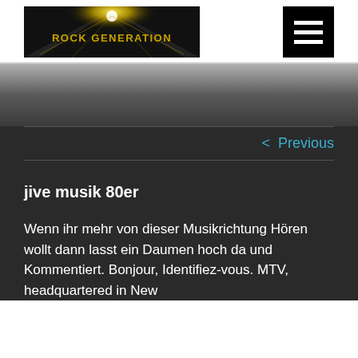[Figure (logo): Rock Generation logo — dark background with golden glowing light and text 'ROCK GENERATION' in bold stylized font]
[Figure (other): Black square hamburger menu button with three white horizontal lines]
[Figure (other): Gray gradient banner strip]
< Previous
jive musik 80er
Wenn ihr mehr von dieser Musikrichtung Hören wollt dann lasst ein Daumen hoch da und Kommentiert. Bonjour, Identifiez-vous. MTV, headquartered in New